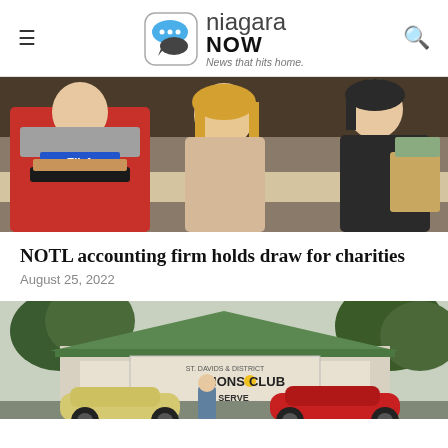niagara NOW — News that hits home.
[Figure (photo): Three women standing at an outdoor food booth. The left woman wears a red FILA hoodie and holds a food tray. The middle woman has blonde hair and holds food items. The right woman is younger with dark hair, smiling.]
NOTL accounting firm holds draw for charities
August 25, 2022
[Figure (photo): Exterior of the St. Davids & District Lions Club building with a green roof. Sign reads 'LIONS CLUB' and 'WE SERVE'. Vintage cars (cream/yellow and red) are parked in the foreground. Trees visible in the background.]